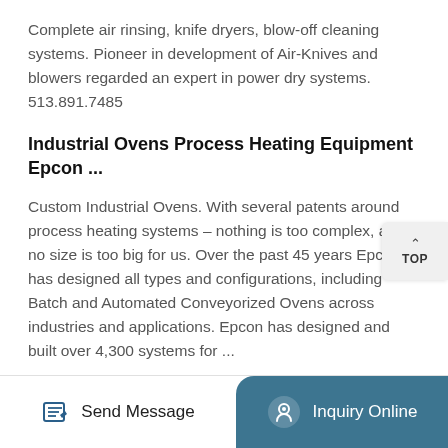Complete air rinsing, knife dryers, blow-off cleaning systems. Pioneer in development of Air-Knives and blowers regarded an expert in power dry systems. 513.891.7485
Industrial Ovens Process Heating Equipment Epcon ...
Custom Industrial Ovens. With several patents around process heating systems – nothing is too complex, and no size is too big for us. Over the past 45 years Epcon has designed all types and configurations, including Batch and Automated Conveyorized Ovens across industries and applications. Epcon has designed and built over 4,300 systems for ...